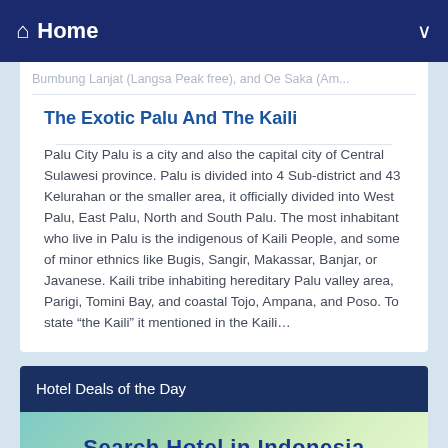Home
Bumbung Lanjat (Langsa Peak free), and Oe Saka (Am...
The Exotic Palu And The Kaili
Palu City Palu is a city and also the capital city of Central Sulawesi province. Palu is divided into 4 Sub-district and 43 Kelurahan or the smaller area, it officially divided into West Palu, East Palu, North and South Palu. The most inhabitant who live in Palu is the indigenous of Kaili People, and some of minor ethnics like Bugis, Sangir, Makassar, Banjar, or Javanese. Kaili tribe inhabiting hereditary Palu valley area, Parigi, Tomini Bay, and coastal Tojo, Ampana, and Poso. To state “the Kaili” it mentioned in the Kaili…
Hotel Deals of the Day
[Figure (infographic): Search Hotel in Indonesia banner with teal/green gradient background]